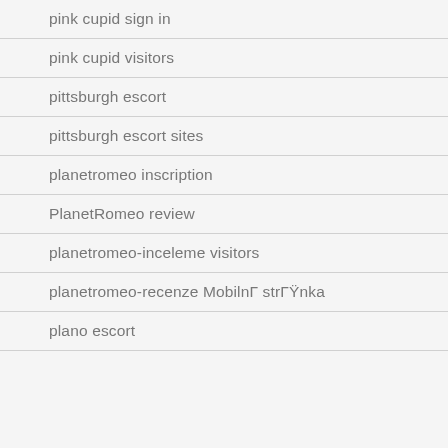pink cupid sign in
pink cupid visitors
pittsburgh escort
pittsburgh escort sites
planetromeo inscription
PlanetRomeo review
planetromeo-inceleme visitors
planetromeo-recenze MobilnÍ strÍŸnka
plano escort